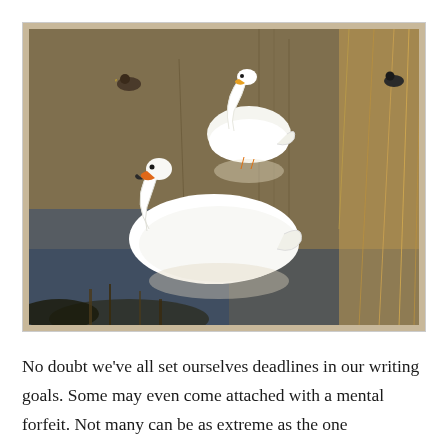[Figure (photo): Two white swans swimming on a lake or pond with brown muddy water. One swan is in the background with neck curved down toward the water, and another larger swan is in the foreground. Two small dark ducks are visible in the background. Tall dry grasses and reeds frame the right side and bottom of the image.]
No doubt we've all set ourselves deadlines in our writing goals. Some may even come attached with a mental forfeit. Not many can be as extreme as the one